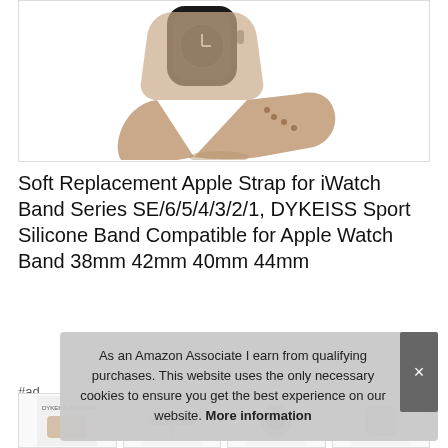[Figure (photo): Photo of a rose gold/pink Apple Watch with sport silicone band, showing the watch face and band from an angle, on white background]
Soft Replacement Apple Strap for iWatch Band Series SE/6/5/4/3/2/1, DYKEISS Sport Silicone Band Compatible for Apple Watch Band 38mm 42mm 40mm 44mm
#ad
As an Amazon Associate I earn from qualifying purchases. This website uses the only necessary cookies to ensure you get the best experience on our website. More information
[Figure (photo): Small product thumbnail images at the bottom of the page]